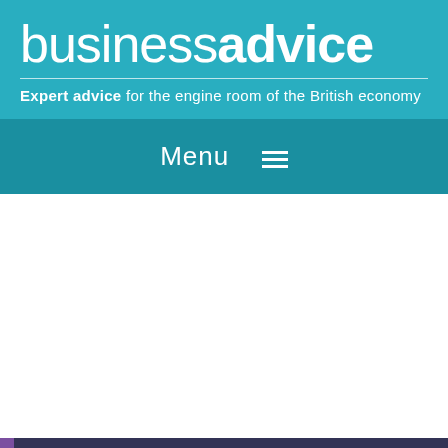business advice
Expert advice for the engine room of the British economy
Menu ☰